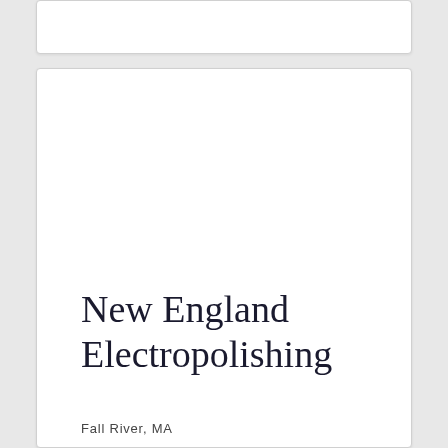New England Electropolishing
Fall River, MA
Website: www.neelectropolishing.com